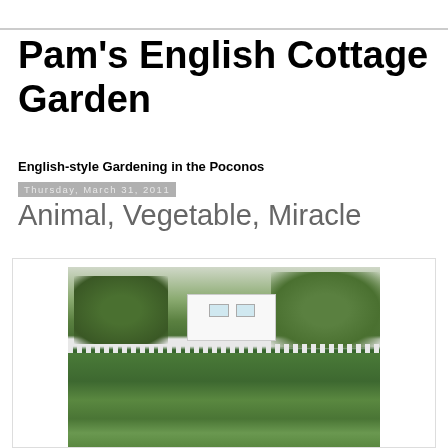Pam's English Cottage Garden
English-style Gardening in the Poconos
Thursday, March 31, 2011
Animal, Vegetable, Miracle
[Figure (photo): A lush vegetable garden in raised beds with green plants in the foreground, a white picket fence in the middle ground, and a white house surrounded by trees in the background.]